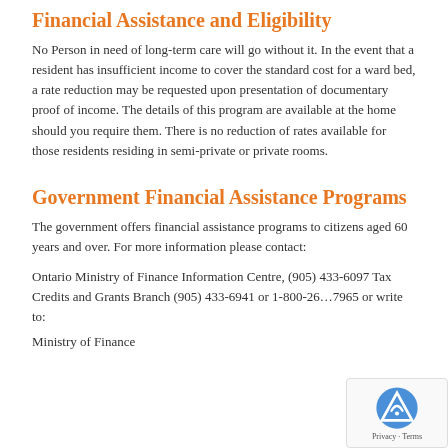Financial Assistance and Eligibility
No Person in need of long-term care will go without it. In the event that a resident has insufficient income to cover the standard cost for a ward bed, a rate reduction may be requested upon presentation of documentary proof of income. The details of this program are available at the home should you require them. There is no reduction of rates available for those residents residing in semi-private or private rooms.
Government Financial Assistance Programs
The government offers financial assistance programs to citizens aged 60 years and over. For more information please contact:
Ontario Ministry of Finance Information Centre, (905) 433-6097 Tax Credits and Grants Branch (905) 433-6941 or 1-800-26…7965 or write to:
Ministry of Finance